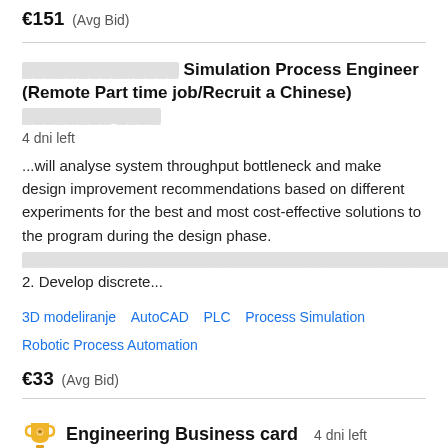€151  (Avg Bid)
仿真流程工程师 Simulation Process Engineer (Remote Part time job/Recruit a Chinese) 兼职/招募  4 dni left
...will analyse system throughput bottleneck and make design improvement recommendations based on different experiments for the best and most cost-effective solutions to the program during the design phase. [unicode text] 2. Develop discrete...
3D modeliranje   AutoCAD   PLC   Process Simulation   Robotic Process Automation
€33  (Avg Bid)
Engineering Business card  4 dni left
Hello, I need a single-side engineering business card. I